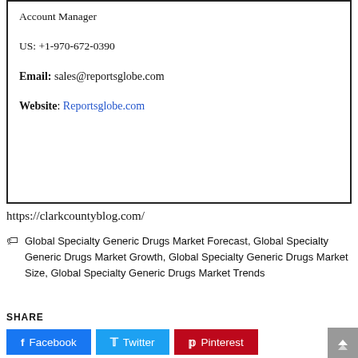Account Manager
US: +1-970-672-0390
Email: sales@reportsglobe.com
Website: Reportsglobe.com
https://clarkcountyblog.com/
Global Specialty Generic Drugs Market Forecast, Global Specialty Generic Drugs Market Growth, Global Specialty Generic Drugs Market Size, Global Specialty Generic Drugs Market Trends
SHARE
Facebook
Twitter
Pinterest